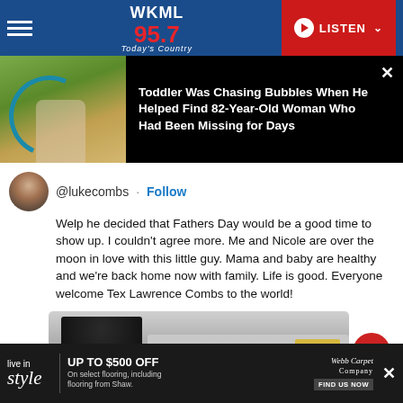WKML 95.7 Today's Country — LISTEN
[Figure (screenshot): Promo banner: toddler chasing bubbles image with headline about 82-year-old missing woman found]
Toddler Was Chasing Bubbles When He Helped Find 82-Year-Old Woman Who Had Been Missing for Days
@lukecombs · Follow
Welp he decided that Fathers Day would be a good time to show up. I couldn't agree more. Me and Nicole are over the moon in love with this little guy. Mama and baby are healthy and we're back home now with family. Life is good. Everyone welcome Tex Lawrence Combs to the world!
[Figure (photo): Photo preview of a person in black hat, partially visible]
[Figure (screenshot): Advertisement: live in style — UP TO $500 OFF on select flooring, including flooring from Shaw. Webb Carpet Company. FIND US NOW.]